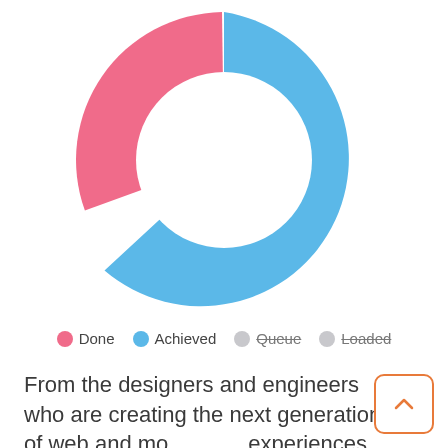[Figure (donut-chart): Donut chart with Done, Achieved, Queue, Loaded segments]
Done  Achieved  Queue  Loaded
From the designers and engineers who are creating the next generation of web and mobile experiences, to anyone putting a website together for the first time...